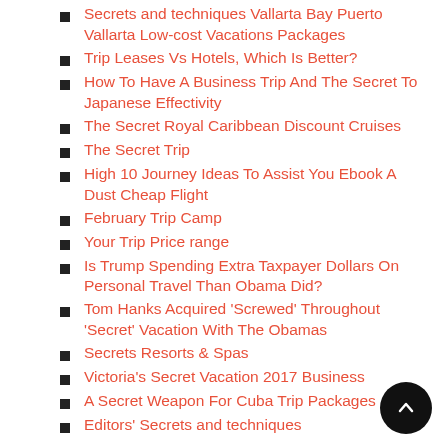Secrets and techniques Vallarta Bay Puerto Vallarta Low-cost Vacations Packages
Trip Leases Vs Hotels, Which Is Better?
How To Have A Business Trip And The Secret To Japanese Effectivity
The Secret Royal Caribbean Discount Cruises
The Secret Trip
High 10 Journey Ideas To Assist You Ebook A Dust Cheap Flight
February Trip Camp
Your Trip Price range
Is Trump Spending Extra Taxpayer Dollars On Personal Travel Than Obama Did?
Tom Hanks Acquired 'Screwed' Throughout 'Secret' Vacation With The Obamas
Secrets Resorts & Spas
Victoria's Secret Vacation 2017 Business
A Secret Weapon For Cuba Trip Packages
Editors' Secrets and techniques